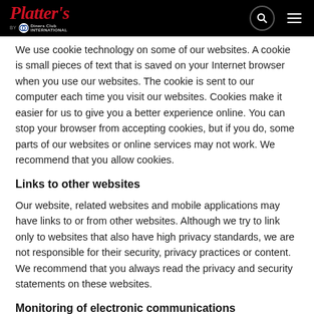Platter's — by Diners Club International
We use cookie technology on some of our websites. A cookie is small pieces of text that is saved on your Internet browser when you use our websites. The cookie is sent to our computer each time you visit our websites. Cookies make it easier for us to give you a better experience online. You can stop your browser from accepting cookies, but if you do, some parts of our websites or online services may not work. We recommend that you allow cookies.
Links to other websites
Our website, related websites and mobile applications may have links to or from other websites. Although we try to link only to websites that also have high privacy standards, we are not responsible for their security, privacy practices or content. We recommend that you always read the privacy and security statements on these websites.
Monitoring of electronic communications
We communicate with you through different methods and channels. If allowed by law, we may record and monitor